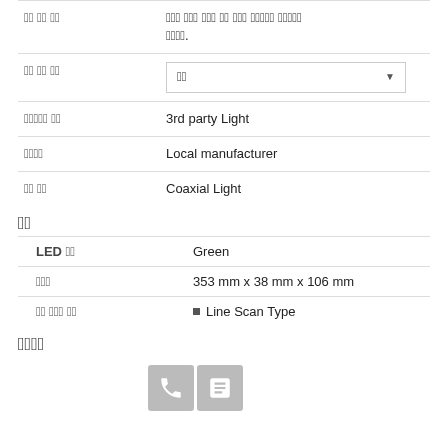| [Korean] | [Korean text describing something] |
| [Korean] | [Dropdown: Korean] |
| [Korean] [Korean] | 3rd party Light |
| [Korean] | Local manufacturer |
| [Korean] [Korean] | Coaxial Light |
[Korean: Section]
| LED [Korean] | Green |
| [Korean] | 353 mm x 38 mm x 106 mm |
| [Korean] [Korean] [Korean] | Line Scan Type |
[Korean: Section 2]
[Figure (infographic): Two icon buttons: phone icon and document/notes icon, both on grey square backgrounds]